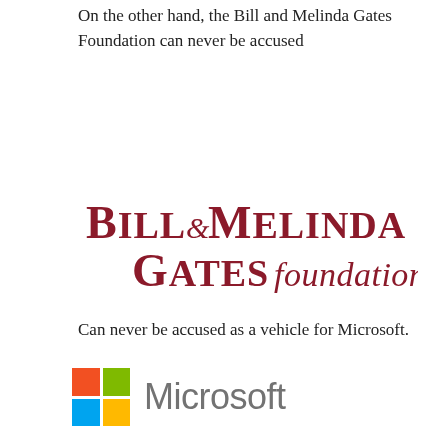On the other hand, the Bill and Melinda Gates Foundation can never be accused
[Figure (logo): Bill & Melinda Gates Foundation logo in dark red serif and italic script lettering]
Can never be accused as a vehicle for Microsoft.
[Figure (logo): Microsoft logo: four-color window grid with Microsoft wordmark in gray sans-serif]